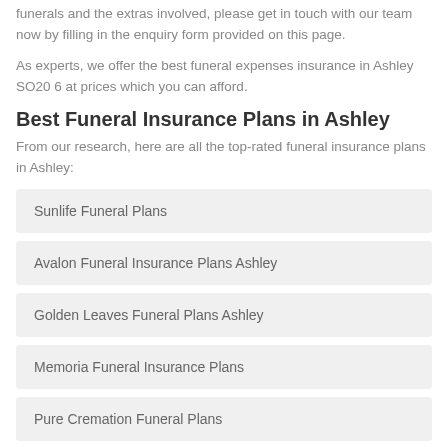funerals and the extras involved, please get in touch with our team now by filling in the enquiry form provided on this page.
As experts, we offer the best funeral expenses insurance in Ashley SO20 6 at prices which you can afford.
Best Funeral Insurance Plans in Ashley
From our research, here are all the top-rated funeral insurance plans in Ashley:
Sunlife Funeral Plans
Avalon Funeral Insurance Plans Ashley
Golden Leaves Funeral Plans Ashley
Memoria Funeral Insurance Plans
Pure Cremation Funeral Plans